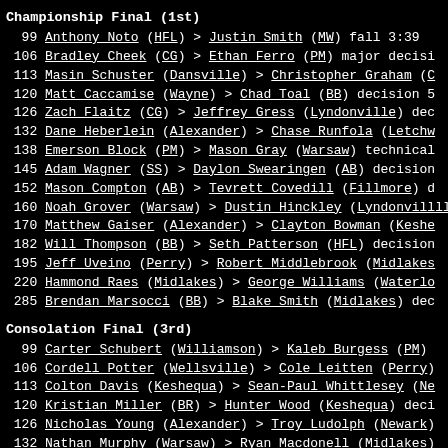Championship Final (1st)
99 Anthony Noto (HFL) > Justin Smith (MW) fall 3:39
106 Bradley Cheek (CG) > Ethan Ferro (PM) major decisi
113 Masin Schuster (Dansville) > Christopher Graham (C
120 Matt Caccamise (Wayne) > Chad Toal (BB) decision 5
126 Zach Flaitz (CG) > Jeffrey Gress (Lyndonville) dec
132 Dane Heberlein (Alexander) > Chase Runfola (Letchw
138 Emerson Block (PM) > Mason Gray (Warsaw) technical
145 Adam Wagner (SS) > Daylon Swearingen (AB) decision
152 Mason Compton (AB) > Tevrett Covedill (Fillmore) d
160 Noah Grover (Warsaw) > Dustin Hinckley (Lyndonvill
170 Matthew Gaiser (Alexander) > Clayton Bowman (Keshe
182 Will Thompson (BB) > Seth Patterson (HFL) decision
195 Jeff Uveino (Perry) > Robert Middlebrook (Midlakes
220 Hammond Raes (Midlakes) > George Williams (Waterlo
285 Brendan Marsocci (BB) > Blake Smith (Midlakes) dec
Consolation Final (3rd)
99 Carter Schubert (Williamson) > Kaleb Burgess (PM)
106 Cordell Potter (Wellsville) > Cole Leitten (Perry)
113 Colton Davis (Keshequa) > Sean-Paul Whittlesey (Ne
120 Kristian Miller (BR) > Hunter Wood (Keshequa) deci
126 Nicholas Young (Alexander) > Troy Ludolph (Newark)
132 Nathan Murphy (Warsaw) > Ryan Macdonell (Midlakes)
138 Zander Sharp (CG) > Evan Wood (AA) decision 5-2
145 Dustin Joy (Lyndonville) > Jesse Jones (Wayne) fal
152 Jacob Cino (Williamson) > Mario Vazquez (ER) SV 3-
160 Connor McEvoy (Keshequa) > Matthew Martusciello (L
170 Joe Allorue (AB) > Adam Matos (Ganoux) decision